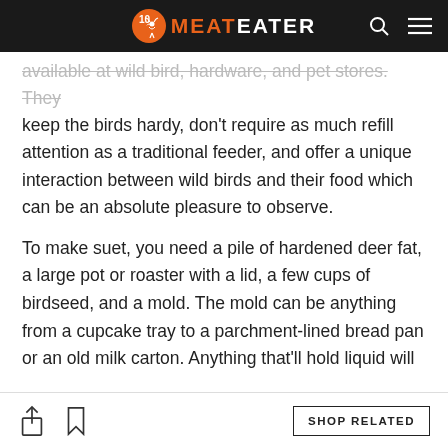10 MEATEATER
available at wild bird, hardware, and pet stores. They keep the birds hardy, don't require as much refill attention as a traditional feeder, and offer a unique interaction between wild birds and their food which can be an absolute pleasure to observe.
To make suet, you need a pile of hardened deer fat, a large pot or roaster with a lid, a few cups of birdseed, and a mold. The mold can be anything from a cupcake tray to a parchment-lined bread pan or an old milk carton. Anything that'll hold liquid will
SHOP RELATED